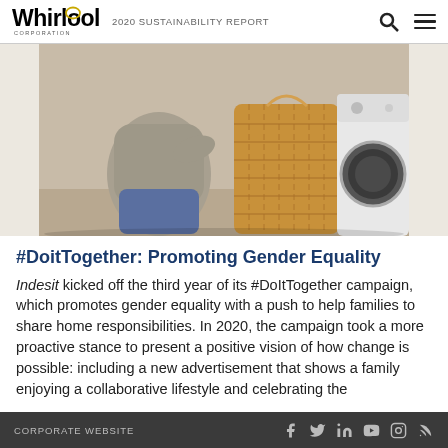Whirlpool Corporation — 2020 SUSTAINABILITY REPORT
[Figure (photo): Person kneeling near a wicker laundry basket and a front-loading washing machine]
#DoitTogether: Promoting Gender Equality
Indesit kicked off the third year of its #DoItTogether campaign, which promotes gender equality with a push to help families to share home responsibilities. In 2020, the campaign took a more proactive stance to present a positive vision of how change is possible: including a new advertisement that shows a family enjoying a collaborative lifestyle and celebrating the
CORPORATE WEBSITE